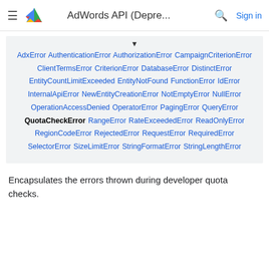AdWords API (Depre... Sign in
[Figure (other): Inheritance hierarchy box showing linked error class names: AdxError AuthenticationError AuthorizationError CampaignCriterionError ClientTermsError CriterionError DatabaseError DistinctError EntityCountLimitExceeded EntityNotFound FunctionError IdError InternalApiError NewEntityCreationError NotEmptyError NullError OperationAccessDenied OperatorError PagingError QueryError QuotaCheckError RangeError RateExceededError ReadOnlyError RegionCodeError RejectedError RequestError RequiredError SelectorError SizeLimitError StringFormatError StringLengthError]
Encapsulates the errors thrown during developer quota checks.